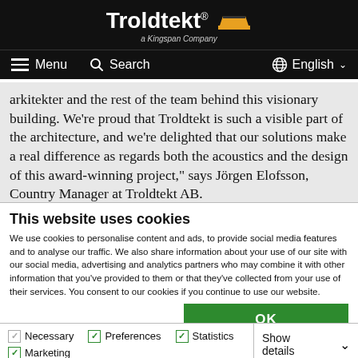Troldtekt® a Kingspan Company — Menu | Search | English
arkitekter and the rest of the team behind this visionary building. We're proud that Troldtekt is such a visible part of the architecture, and we're delighted that our solutions make a real difference as regards both the acoustics and the design of this award-winning project," says Jörgen Elofsson, Country Manager at Troldtekt AB.
This website uses cookies
We use cookies to personalise content and ads, to provide social media features and to analyse our traffic. We also share information about your use of our site with our social media, advertising and analytics partners who may combine it with other information that you've provided to them or that they've collected from your use of their services. You consent to our cookies if you continue to use our website.
OK
Necessary  Preferences  Statistics  Marketing  Show details